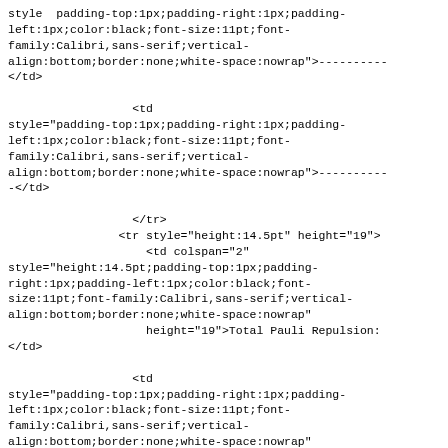style  padding-top:1px;padding-right:1px;padding-left:1px;color:black;font-size:11pt;font-family:Calibri,sans-serif;vertical-align:bottom;border:none;white-space:nowrap">----------</td>
                  <td
style="padding-top:1px;padding-right:1px;padding-left:1px;color:black;font-size:11pt;font-family:Calibri,sans-serif;vertical-align:bottom;border:none;white-space:nowrap">----------
-</td>
                  </tr>
                <tr style="height:14.5pt" height="19">
                    <td colspan="2"
style="height:14.5pt;padding-top:1px;padding-right:1px;padding-left:1px;color:black;font-size:11pt;font-family:Calibri,sans-serif;vertical-align:bottom;border:none;white-space:nowrap"
                    height="19">Total Pauli Repulsion:
</td>
                  <td
style="padding-top:1px;padding-right:1px;padding-left:1px;color:black;font-size:11pt;font-family:Calibri,sans-serif;vertical-align:bottom;border:none;white-space:nowrap"
                    align="right">0.018147</td>
                    <td
style="padding-top:1px;padding-right:1px;padding-left:1px;color:black;font-size:11pt;font-family:Calibri,sans-serif;vertical-align:bottom;border:none;white-space:nowrap"><br>